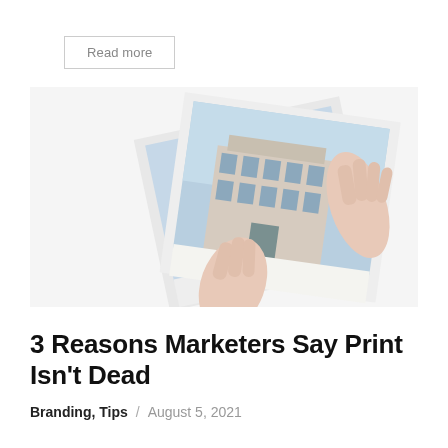Read more
[Figure (photo): Hands holding a polaroid-style photograph of a white classical building facade with blue sky, with another photograph leaning behind it, on a white background.]
3 Reasons Marketers Say Print Isn't Dead
Branding, Tips / August 5, 2021